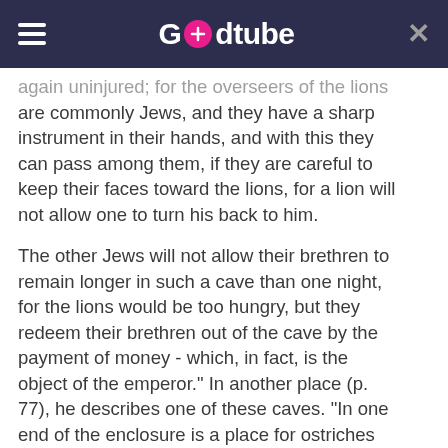Godtube
again uninjured; for the overseers of the lions are commonly Jews, and they have a sharp instrument in their hands, and with this they can pass among them, if they are careful to keep their faces toward the lions, for a lion will not allow one to turn his back to him.

The other Jews will not allow their brethren to remain longer in such a cave than one night, for the lions would be too hungry, but they redeem their brethren out of the cave by the payment of money - which, in fact, is the object of the emperor." In another place (p. 77), he describes one of these caves. "In one end of the enclosure is a place for ostriches and their young ones, and at the other end toward the mountain is a cave for lions, which stands in a large cavern in the earth that has a division wall, in the midst of which is a door, which the Jews who have the charge of the lions can open and close from above, and, by means of food, they entice the lions from one room into another, that they may have the